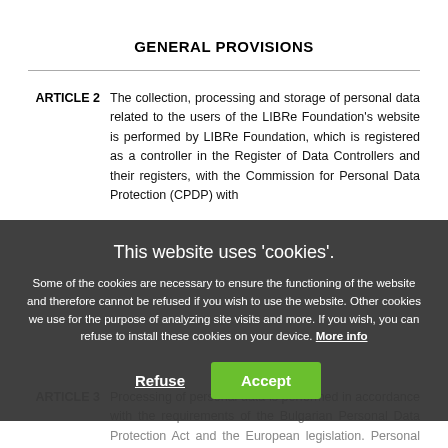GENERAL PROVISIONS
ARTICLE 2  The collection, processing and storage of personal data related to the users of the LIBRe Foundation's website is performed by LIBRe Foundation, which is registered as a controller in the Register of Data Controllers and their registers, with the Commission for Personal Data Protection (CPDP) with
This website uses 'cookies'. Some of the cookies are necessary to ensure the functioning of the website and therefore cannot be refused if you wish to use the website. Other cookies we use for the purpose of analyzing site visits and more. If you wish, you can refuse to install these cookies on your device. More info
ARTICLE 3  Processing of personal data is performed in accordance with the requirements of the Bulgarian Personal Data Protection Act and the European legislation. Personal data is collected, processed and stored lawfully and in good faith only for the purposes of presenting the content and the services